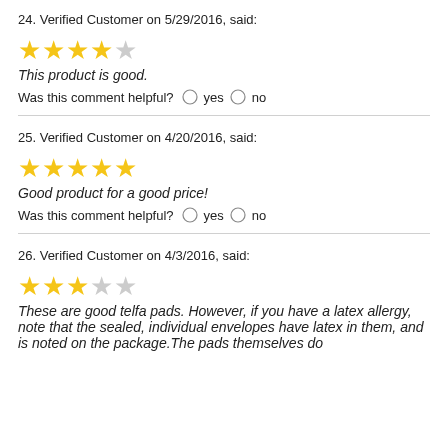24. Verified Customer on 5/29/2016, said:
[Figure (other): 4 out of 5 stars rating]
This product is good.
Was this comment helpful? yes no
25. Verified Customer on 4/20/2016, said:
[Figure (other): 5 out of 5 stars rating]
Good product for a good price!
Was this comment helpful? yes no
26. Verified Customer on 4/3/2016, said:
[Figure (other): 3 out of 5 stars rating]
These are good telfa pads. However, if you have a latex allergy, note that the sealed, individual envelopes have latex in them, and is noted on the package.The pads themselves do